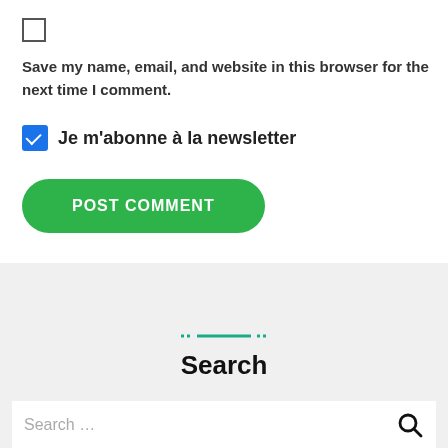Save my name, email, and website in this browser for the next time I comment.
Je m'abonne à la newsletter
POST COMMENT
Search
Search …